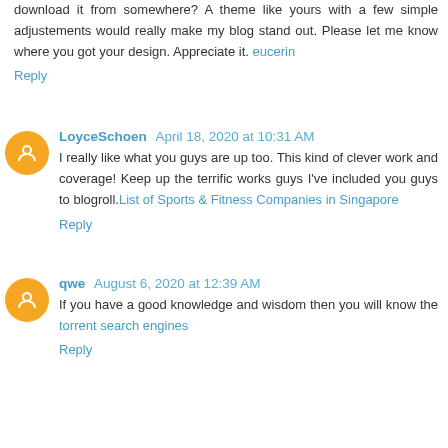download it from somewhere? A theme like yours with a few simple adjustements would really make my blog stand out. Please let me know where you got your design. Appreciate it. eucerin
Reply
LoyceSchoen April 18, 2020 at 10:31 AM
I really like what you guys are up too. This kind of clever work and coverage! Keep up the terrific works guys I've included you guys to blogroll.List of Sports & Fitness Companies in Singapore
Reply
qwe August 6, 2020 at 12:39 AM
If you have a good knowledge and wisdom then you will know the torrent search engines
Reply